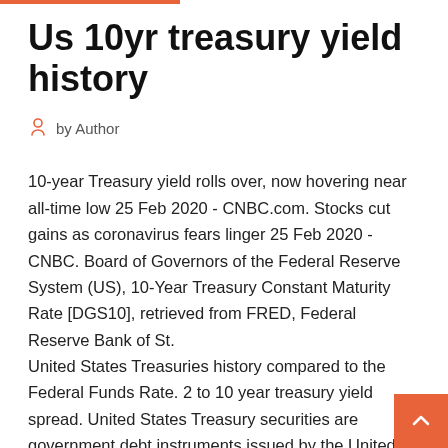Us 10yr treasury yield history
by Author
10-year Treasury yield rolls over, now hovering near all-time low 25 Feb 2020 - CNBC.com. Stocks cut gains as coronavirus fears linger 25 Feb 2020 - CNBC. Board of Governors of the Federal Reserve System (US), 10-Year Treasury Constant Maturity Rate [DGS10], retrieved from FRED, Federal Reserve Bank of St.
United States Treasuries history compared to the Federal Funds Rate. 2 to 10 year treasury yield spread. United States Treasury securities are government debt instruments issued by the United States  Interactive chart showing the daily 10 year treasury yield back to 1962. The 10 year treasury is the benchmark used to decide mortgage rates across the U.S. Seal of the U.S. Department of the Treasury, 1789 Historical Treasury Rates Treasury Yield Curve Rates The...